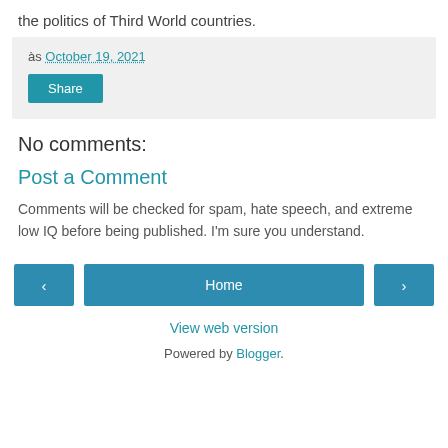the politics of Third World countries.
às October 19, 2021
Share
No comments:
Post a Comment
Comments will be checked for spam, hate speech, and extreme low IQ before being published. I'm sure you understand.
< | Home | >
View web version
Powered by Blogger.